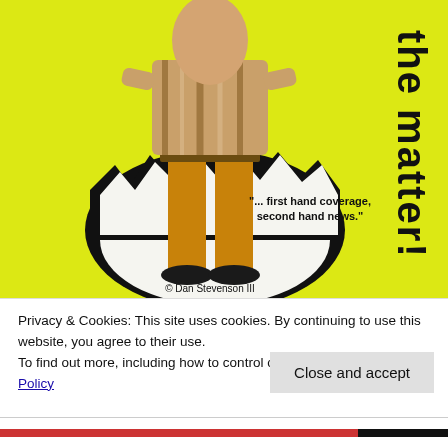[Figure (illustration): Book or magazine cover with bright yellow background. A person wearing orange/tan trousers and a patterned shirt stands emerging from a large cracked black egg shell. On the right side, bold black vertical text reads 'the matter!' in a comic-style font. Below, a quote reads '"... first hand coverage, second hand news."' and at the bottom center: '© Dan Stevenson III']
Privacy & Cookies: This site uses cookies. By continuing to use this website, you agree to their use.
To find out more, including how to control cookies, see here: Cookie Policy